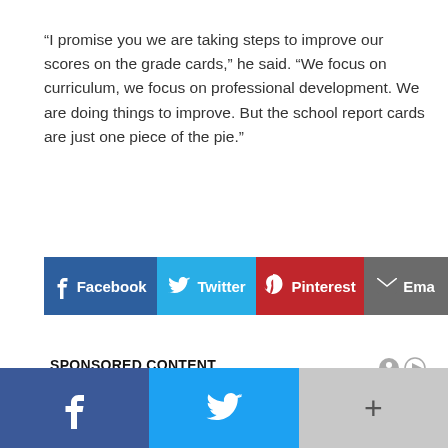“I promise you we are taking steps to improve our scores on the grade cards,” he said. “We focus on curriculum, we focus on professional development. We are doing things to improve. But the school report cards are just one piece of the pie.”
[Figure (infographic): Social share buttons: Facebook (blue), Twitter (light blue), Pinterest (red), Email (grey)]
SPONSORED CONTENT
[Figure (infographic): Load comments button (blue gradient button)]
BOOKMARK THE PERMALINK.
[Figure (infographic): Bottom navigation bar with Facebook (dark blue), Twitter (light blue), and More (+) buttons]